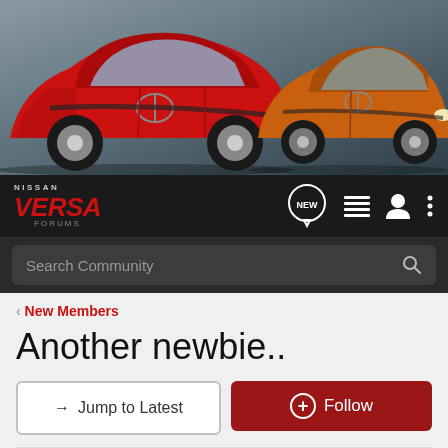[Figure (photo): Banner showing two Nissan cars: a red Nissan Versa on the left and an orange Nissan Note on the right, against an urban background.]
NISSAN VERSA FORUMS — navigation bar with NEW, list, user, and menu icons, plus Search Community search bar
< New Members
Another newbie..
→ Jump to Latest
+ Follow
1 - 8 of 8 Posts
devilV · Registered
Joined Sep 1, 2009 · 14 Posts